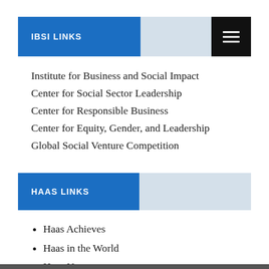IBSI LINKS
Institute for Business and Social Impact
Center for Social Sector Leadership
Center for Responsible Business
Center for Equity, Gender, and Leadership
Global Social Venture Competition
HAAS LINKS
Haas Achieves
Haas in the World
Haas Newsroom